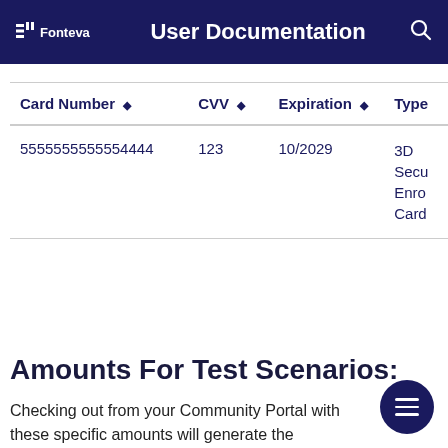Fonteva  User Documentation
| Card Number | CVV | Expiration | Type |
| --- | --- | --- | --- |
| 5555555555554444 | 123 | 10/2029 | 3D Secu Enro Card |
Amounts For Test Scenarios:
Checking out from your Community Portal with these specific amounts will generate the corresponding te scenarios results. Each scenario allows you to test a